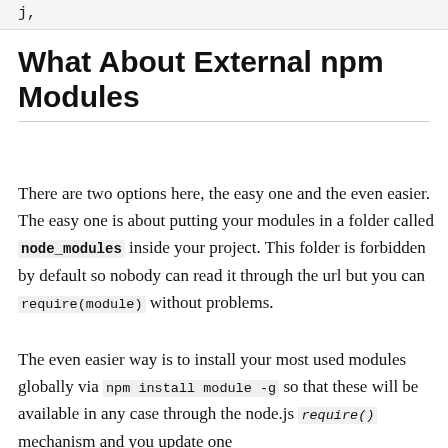j,
What About External npm Modules
There are two options here, the easy one and the even easier. The easy one is about putting your modules in a folder called node_modules inside your project. This folder is forbidden by default so nobody can read it through the url but you can require(module) without problems.
The even easier way is to install your most used modules globally via npm install module -g so that these will be available in any case through the node.js require() mechanism and you update one...